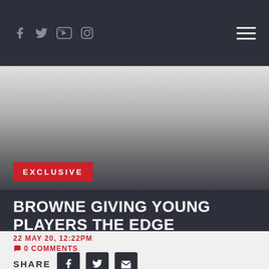Social icons (Facebook, Twitter, YouTube, Instagram) and hamburger menu
[Figure (photo): Hero image area with gradient from light gray to dark gray/charcoal]
EXCLUSIVE
BROWNE GIVING YOUNG PLAYERS THE EDGE
22 MAY 20, 12:22PM
0 COMMENTS
SHARE